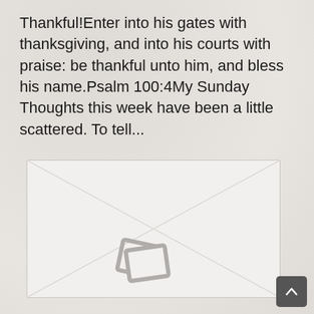Thankful!Enter into his gates with thanksgiving, and into his courts with praise: be thankful unto him, and bless his name.Psalm 100:4My Sunday Thoughts this week have been a little scattered.  To tell...
[Figure (illustration): A white/light grey rectangular image placeholder with diagonal envelope-like lines and a grey image placeholder icon (two overlapping rectangles) in the lower center.]